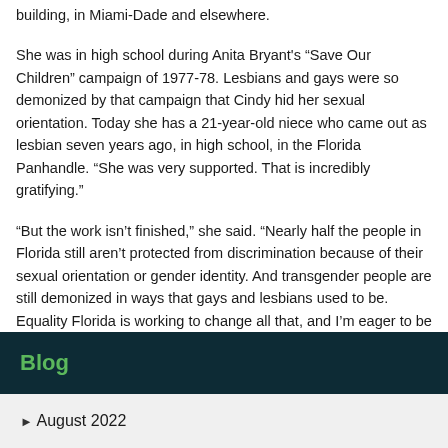building, in Miami-Dade and elsewhere.
She was in high school during Anita Bryant's “Save Our Children” campaign of 1977-78. Lesbians and gays were so demonized by that campaign that Cindy hid her sexual orientation. Today she has a 21-year-old niece who came out as lesbian seven years ago, in high school, in the Florida Panhandle. “She was very supported. That is incredibly gratifying.”
“But the work isn’t finished,” she said. “Nearly half the people in Florida still aren’t protected from discrimination because of their sexual orientation or gender identity. And transgender people are still demonized in ways that gays and lesbians used to be. Equality Florida is working to change all that, and I’m eager to be a part of it.”
Blog
August 2022